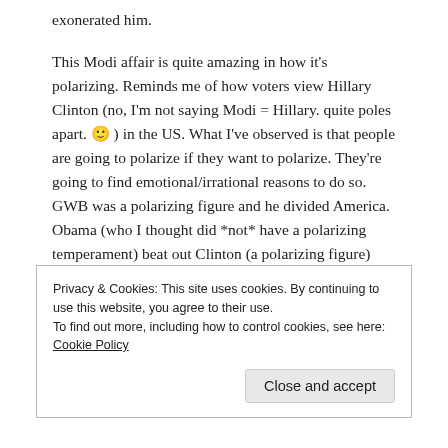exonerated him.
This Modi affair is quite amazing in how it’s polarizing. Reminds me of how voters view Hillary Clinton (no, I’m not saying Modi = Hillary. quite poles apart. 🙂 ) in the US. What I’ve observed is that people are going to polarize if they want to polarize. They’re going to find emotional/irrational reasons to do so. GWB was a polarizing figure and he divided America. Obama (who I thought did *not* have a polarizing temperament) beat out Clinton (a polarizing figure) and even that didn’t stop America from splitting even further.
It’s all disgusting, i agree. The truth is that no politician can be
Privacy & Cookies: This site uses cookies. By continuing to use this website, you agree to their use.
To find out more, including how to control cookies, see here: Cookie Policy
Close and accept